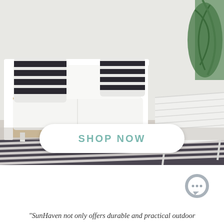[Figure (photo): Outdoor patio setting with a white wicker sofa featuring black and white striped cushions, a white coffee table, a green plant, and a dark grey and white striped area rug on a light floor. A 'SHOP NOW' button overlay is centered on the image.]
SHOP NOW
[Figure (illustration): Grey circular chat/message bubble icon with three dots indicating a chat widget]
"SunHaven not only offers durable and practical outdoor